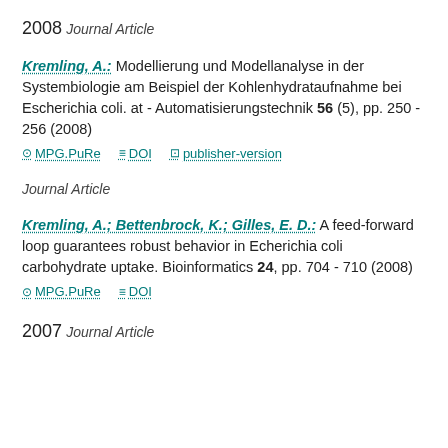2008
Journal Article
Kremling, A.: Modellierung und Modellanalyse in der Systembiologie am Beispiel der Kohlenhydrataufnahme bei Escherichia coli. at - Automatisierungstechnik 56 (5), pp. 250 - 256 (2008)
MPG.PuRe  DOI  publisher-version
Journal Article
Kremling, A.; Bettenbrock, K.; Gilles, E. D.: A feed-forward loop guarantees robust behavior in Echerichia coli carbohydrate uptake. Bioinformatics 24, pp. 704 - 710 (2008)
MPG.PuRe  DOI
2007
Journal Article